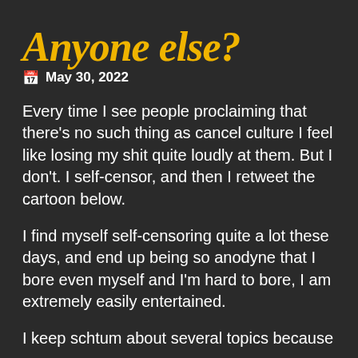Anyone else?
May 30, 2022
Every time I see people proclaiming that there’s no such thing as cancel culture I feel like losing my shit quite loudly at them. But I don’t. I self-censor, and then I retweet the cartoon below.
I find myself self-censoring quite a lot these days, and end up being so anodyne that I bore even myself and I’m hard to bore, I am extremely easily entertained.
I keep schtum about several topics because